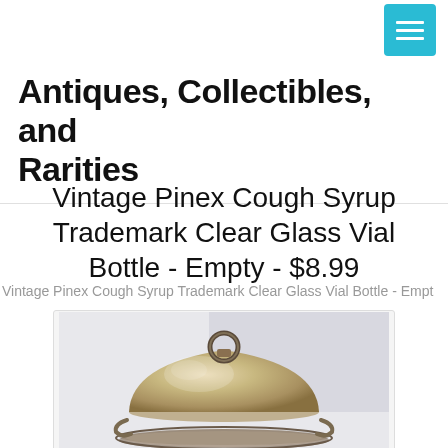[Menu button]
Antiques, Collectibles, and Rarities
Vintage Pinex Cough Syrup Trademark Clear Glass Vial Bottle - Empty - $8.99
Vintage Pinex Cough Syrup Trademark Clear Glass Vial Bottle - Empt…
[Figure (photo): Photo of a silver/metallic domed serving dish with a round handle on top, sitting on a decorative base, photographed against a light background.]